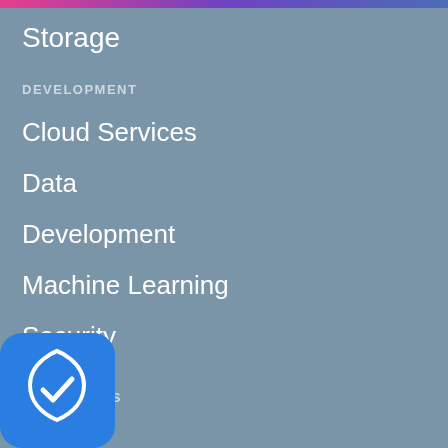Storage
DEVELOPMENT
Cloud Services
Data
Development
Machine Learning
Security
OPERATIONS
CI/CD
Culture
DevOps
Kubernetes
[Figure (illustration): Blue shield icon with a white checkmark, positioned in the bottom-left corner of the screen]